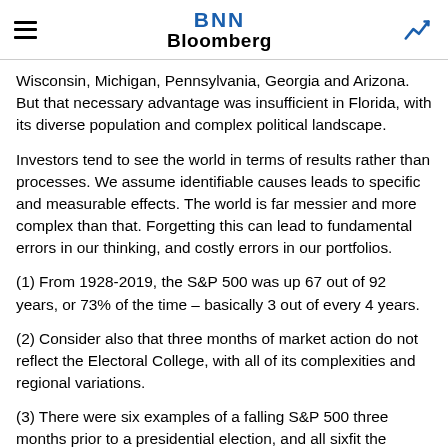BNN Bloomberg
Wisconsin, Michigan, Pennsylvania, Georgia and Arizona. But that necessary advantage was insufficient in Florida, with its diverse population and complex political landscape.
Investors tend to see the world in terms of results rather than processes. We assume identifiable causes leads to specific and measurable effects. The world is far messier and more complex than that. Forgetting this can lead to fundamental errors in our thinking, and costly errors in our portfolios.
(1) From 1928-2019, the S&P 500 was up 67 out of 92 years, or 73% of the time – basically 3 out of every 4 years.
(2) Consider also that three months of market action do not reflect the Electoral College, with all of its complexities and regional variations.
(3) There were six examples of a falling S&P 500 three months prior to a presidential election, and all sixfit the thesis. It is also noteworthy that this is too small a sample to